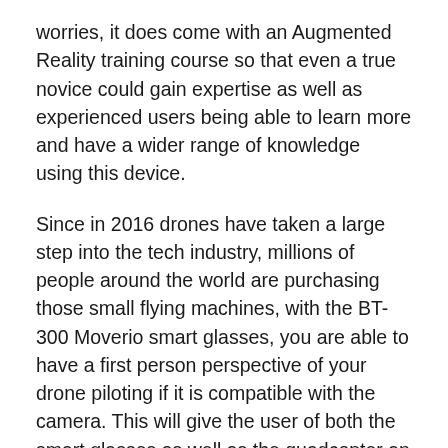worries, it does come with an Augmented Reality training course so that even a true novice could gain expertise as well as experienced users being able to learn more and have a wider range of knowledge using this device.
Since in 2016 drones have taken a large step into the tech industry, millions of people around the world are purchasing those small flying machines, with the BT-300 Moverio smart glasses, you are able to have a first person perspective of your drone piloting if it is compatible with the camera. This will give the user of both the smart glasses as well as the quadcopter an enjoyable experience.
That isn't all, the smart glasses are even being linked to physical stores to improve a user's online shopping experience when he or she doesn't want to